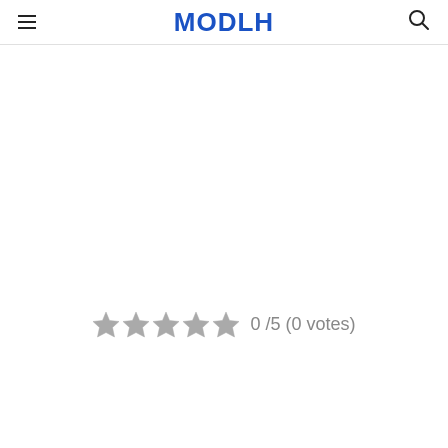MODLH
[Figure (other): Star rating widget showing 5 empty/grey stars with text '0 /5 (0 votes)']